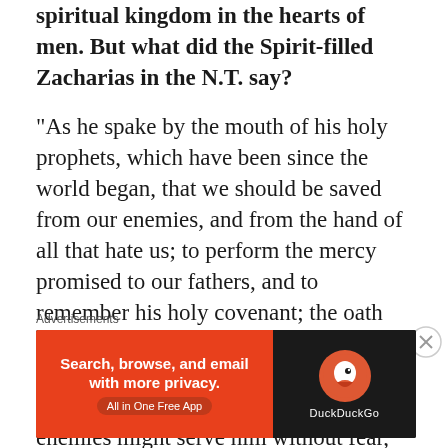spiritual kingdom in the hearts of men. But what did the Spirit-filled Zacharias in the N.T. say?
“As he spake by the mouth of his holy prophets, which have been since the world began, that we should be saved from our enemies, and from the hand of all that hate us; to perform the mercy promised to our fathers, and to remember his holy covenant; the oath which he sware to our father Abraham, that he would grant unto us, that we being delivered out of the hand of our enemies might serve him without fear, in holiness and righteousness before him, all the days of our life” (Lk. 1:70-75).
Advertisements
[Figure (other): DuckDuckGo advertisement banner: orange left panel with text 'Search, browse, and email with more privacy. All in One Free App' and dark right panel with DuckDuckGo logo and brand name.]